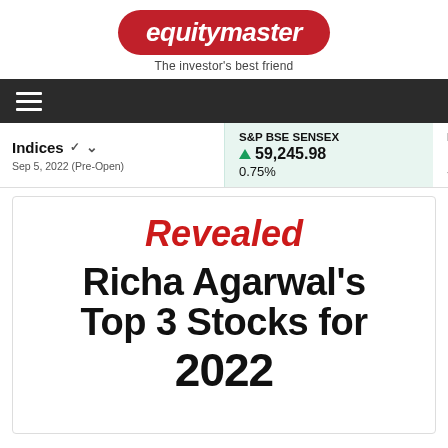[Figure (logo): Equitymaster logo — red pill-shaped badge with white italic bold text 'equitymaster', tagline 'The investor's best friend' below]
Navigation bar with hamburger menu icon on dark background
Indices ∨  Sep 5, 2022 (Pre-Open)
S&P BSE SENSEX ▲ 59,245.98  0.75%
NIFTY 50  17,653.90  -
Revealed  Richa Agarwal's Top 3 Stocks for 2022